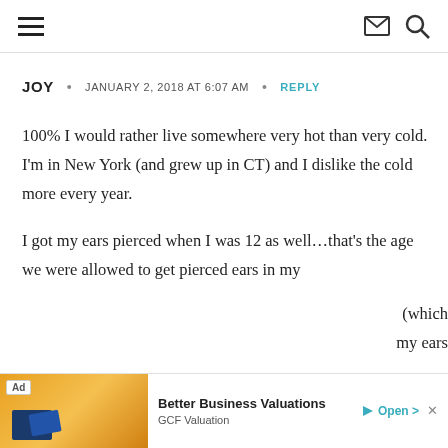Navigation header with hamburger menu, envelope icon, and search icon
JOY  •  JANUARY 2, 2018 AT 6:07 AM  •  REPLY
100% I would rather live somewhere very hot than very cold. I'm in New York (and grew up in CT) and I dislike the cold more every year.

I got my ears pierced when I was 12 as well...that's the age we were allowed to get pierced ears in my (which my ears
[Figure (other): Advertisement banner: Better Business Valuations by GCF Valuation with orange background image and Open button]